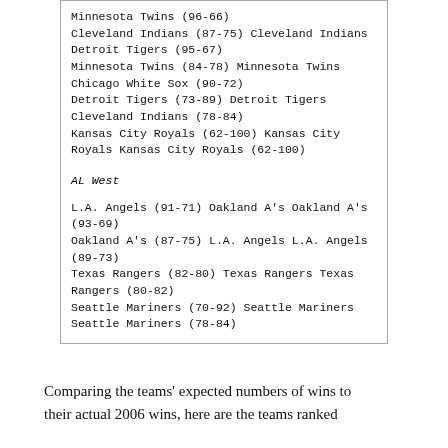Minnesota Twins (96-66)
Cleveland Indians (87-75) Cleveland Indians
Detroit Tigers (95-67)
Minnesota Twins (84-78) Minnesota Twins
Chicago White Sox (90-72)
Detroit Tigers (73-89) Detroit Tigers
Cleveland Indians (78-84)
Kansas City Royals (62-100) Kansas City Royals Kansas City Royals (62-100)
AL West
L.A. Angels (91-71) Oakland A's Oakland A's (93-69)
Oakland A's (87-75) L.A. Angels L.A. Angels (89-73)
Texas Rangers (82-80) Texas Rangers Texas Rangers (80-82)
Seattle Mariners (70-92) Seattle Mariners Seattle Mariners (78-84)
Comparing the teams' expected numbers of wins to their actual 2006 wins, here are the teams ranked